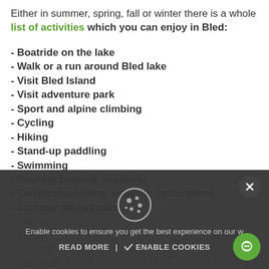Either in summer, spring, fall or winter there is a whole list of activities which you can enjoy in Bled:
- Boatride on the lake
- Walk or a run around Bled lake
- Visit Bled Island
- Visit adventure park
- Sport and alpine climbing
- Cycling
- Hiking
- Stand-up paddling
- Swimming
- Rowing, boating, kayaking
- Canyoning, tubing, bellyjak, hydrospeed
- Summer tobogganing
- Rafting
- Zipline
- Fishing
- Paintball
- Sledding